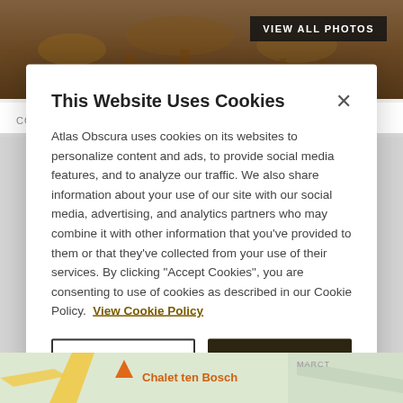[Figure (photo): Top photo strip showing ornate golden furniture/antique interior, dimly lit with warm tones]
VIEW ALL PHOTOS
COOLCRAB [ATLAS OBSCURA USER]
This Website Uses Cookies
Atlas Obscura uses cookies on its websites to personalize content and ads, to provide social media features, and to analyze our traffic. We also share information about your use of our site with our social media, advertising, and analytics partners who may combine it with other information that you've provided to them or that they've collected from your use of their services. By clicking "Accept Cookies", you are consenting to use of cookies as described in our Cookie Policy. View Cookie Policy
Manage Preferences
Allow Cookies
[Figure (map): Bottom strip showing a map with road and Chalet ten Bosch label]